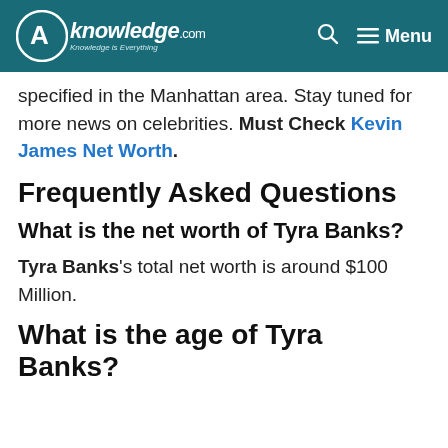AKnowledge.com — Menu
specified in the Manhattan area. Stay tuned for more news on celebrities. Must Check Kevin James Net Worth.
Frequently Asked Questions
What is the net worth of Tyra Banks?
Tyra Banks's total net worth is around $100 Million.
What is the age of Tyra Banks?